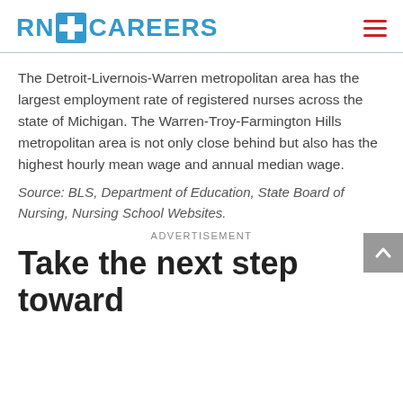RN CAREERS
The Detroit-Livernois-Warren metropolitan area has the largest employment rate of registered nurses across the state of Michigan. The Warren-Troy-Farmington Hills metropolitan area is not only close behind but also has the highest hourly mean wage and annual median wage.
Source: BLS, Department of Education, State Board of Nursing, Nursing School Websites.
ADVERTISEMENT
Take the next step toward